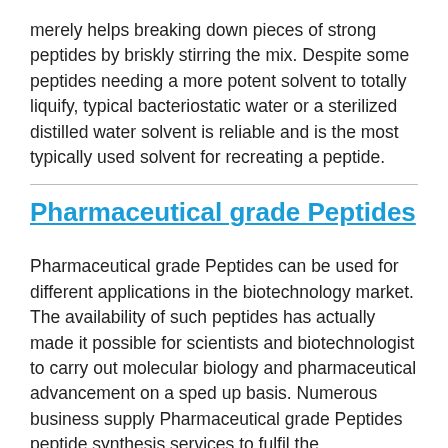merely helps breaking down pieces of strong peptides by briskly stirring the mix. Despite some peptides needing a more potent solvent to totally liquify, typical bacteriostatic water or a sterilized distilled water solvent is reliable and is the most typically used solvent for recreating a peptide.
Pharmaceutical grade Peptides
Pharmaceutical grade Peptides can be used for different applications in the biotechnology market. The availability of such peptides has actually made it possible for scientists and biotechnologist to carry out molecular biology and pharmaceutical advancement on a sped up basis. Numerous business supply Pharmaceutical grade Peptides peptide synthesis services to fulfil the requirements of the customers.
A Peptide can be identified based upon its molecular structure. Peptides can be categorized into 3 groups–